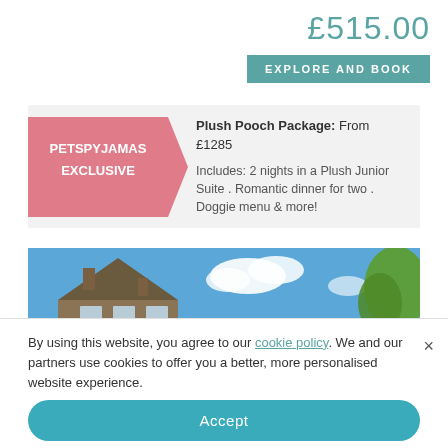£515.00
EXPLORE AND BOOK
[Figure (infographic): PetsPyjamas Exclusive ribbon/banner in pink with white text, containing offer details: Plush Pooch Package: From £1285. Includes: 2 nights in a Plush Junior Suite . Romantic dinner for two . Doggie menu & more!]
[Figure (photo): Exterior photo of a stone building/hotel roof against a bright blue sky with white clouds and a green tree on the right.]
By using this website, you agree to our cookie policy. We and our partners use cookies to offer you a better, more personalised website experience.
Accept